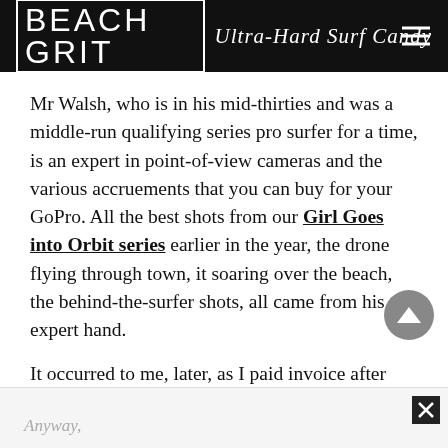BEACH GRIT Ultra-Hard Surf Candy
Mr Walsh, who is in his mid-thirties and was a middle-run qualifying series pro surfer for a time, is an expert in point-of-view cameras and the various accruements that you can buy for your GoPro. All the best shots from our Girl Goes into Orbit series earlier in the year, the drone flying through town, it soaring over the beach, the behind-the-surfer shots, all came from his expert hand.
It occurred to me, later, as I paid invoice after invoice that I could’ve just brought along Anthony, sat back, and watched it all unfurl.
Anyway,